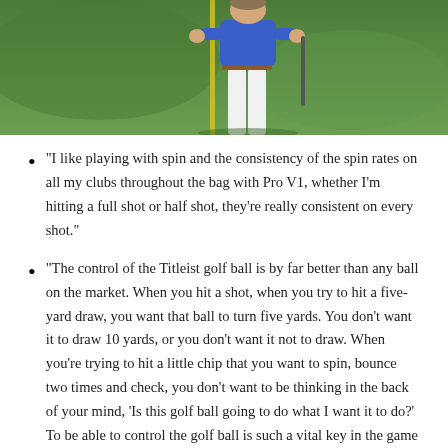[Figure (photo): A golfer wearing a blue shirt and white pants standing on a golf course, holding a golf club. A yellow flag pole is visible on the left side. Green grass background.]
“I like playing with spin and the consistency of the spin rates on all my clubs throughout the bag with Pro V1, whether I’m hitting a full shot or half shot, they’re really consistent on every shot.”
“The control of the Titleist golf ball is by far better than any ball on the market. When you hit a shot, when you try to hit a five-yard draw, you want that ball to turn five yards. You don’t want it to draw 10 yards, or you don’t want it not to draw. When you’re trying to hit a little chip that you want to spin, bounce two times and check, you don’t want to be thinking in the back of your mind, ‘Is this golf ball going to do what I want it to do?’ To be able to control the golf ball is such a vital key in the game of golf.